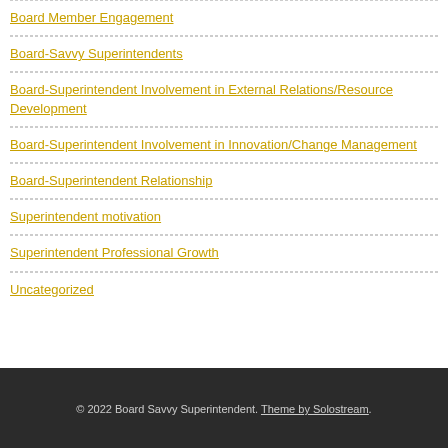Board Member Engagement
Board-Savvy Superintendents
Board-Superintendent Involvement in External Relations/Resource Development
Board-Superintendent Involvement in Innovation/Change Management
Board-Superintendent Relationship
Superintendent motivation
Superintendent Professional Growth
Uncategorized
© 2022 Board Savvy Superintendent. Theme by Solostream.